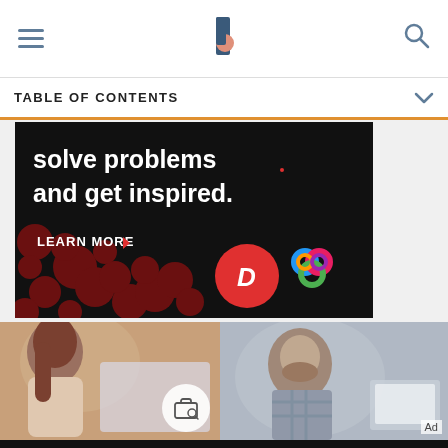[Figure (screenshot): Mobile app navigation bar with hamburger menu icon on left, stylized 'b' logo in center, and search icon on right, white background]
TABLE OF CONTENTS
[Figure (photo): Advertisement banner with black background and dark red dot pattern. White text reads 'solve problems and get inspired.' with 'LEARN MORE' button and Dotdash and Meredith logos]
[Figure (photo): Two side-by-side photos: left shows woman with long hair from behind working at computer; right shows bearded man in plaid shirt looking down at work. Left photo has briefcase/search icon overlay. 'Ad' label on right side.]
[Figure (photo): Bottom advertisement bar with black background, white text reading 'We help people find answers, solve problems and get inspired.' with Dotdash D logo and Meredith colorful knot logo with 'Dotdash meredith' text]